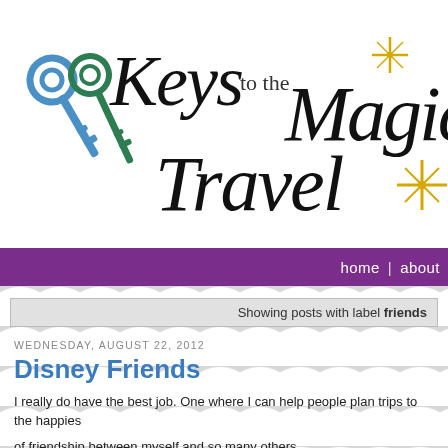[Figure (logo): Keys to the Magic Travel blog logo with two decorative keys (blue and green) and cursive/script text reading 'Keys to the Magic Travel' with gold sparkle stars]
home | about
Showing posts with label friends
WEDNESDAY, AUGUST 22, 2012
Disney Friends
I really do have the best job.  One where I can help people plan trips to the happiest of friendship between myself and so many others.